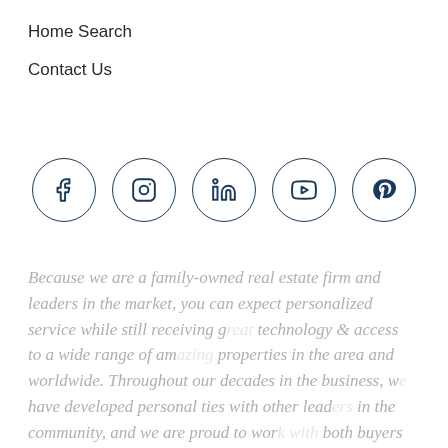Home Search
Contact Us
[Figure (infographic): Row of 5 social media icon circles: Facebook, Instagram, LinkedIn, YouTube, Pinterest]
Because we are a family-owned real estate firm and leaders in the market, you can expect personalized service while still receiving great technology & access to a wide range of amazing properties in the area and worldwide. Throughout our decades in the business, we have developed personal ties with other leaders in the community, and we are proud to work with both buyers and sellers in the Palm Beach Gardens area. In fact, we represent clients in Boca Raton, Coral Springs, Jupiter, West Palm Beach...